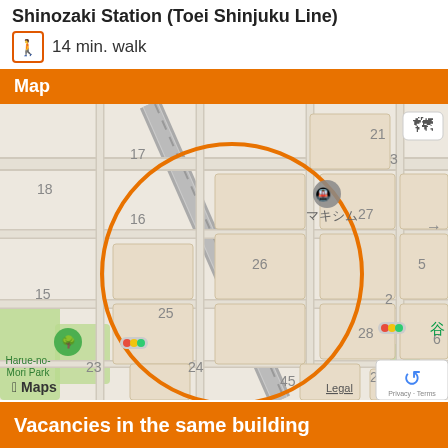Shinozaki Station (Toei Shinjuku Line)
14 min. walk
Map
[Figure (map): Apple Maps showing the area around a location in Tokyo. An orange circle highlights the building area. Visible labels include numbers 21, 4, 3, 17, 18, 16, 27, 26, 5, 15, 25, 2, 24, 28, 29, 23, 45, 6, 1, and text マキシム (Makishimu). Harue-no-Mori Park is labeled with a green tree icon. Apple Maps branding at bottom left, Legal link and reCAPTCHA widget at bottom right.]
Vacancies in the same building